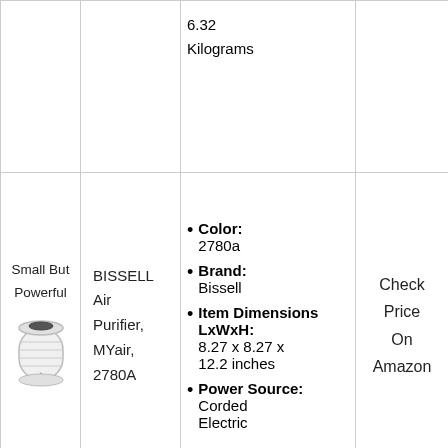|  |  | Specs |  |
| --- | --- | --- | --- |
|  |  | 6.32 Kilograms |  |
| Small But Powerful [image: BISSELL Air Purifier] | BISSELL Air Purifier, MYair, 2780A | Color: 2780a | Brand: Bissell | Item Dimensions LxWxH: 8.27 x 8.27 x 12.2 inches | Power Source: Corded Electric | Check Price On Amazon |